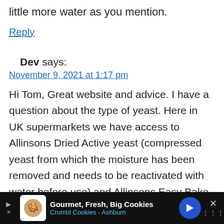little more water as you mention.
Reply
Dev says:
November 9, 2021 at 1:17 pm
Hi Tom, Great website and advice. I have a question about the type of yeast. Here in UK supermarkets we have access to Allinsons Dried Active yeast (compressed yeast from which the moisture has been removed and needs to be reactivated with water before use) and Allinsons Easy Bake yeast (which
[Figure (screenshot): Advertisement banner at bottom of page for 'Gourmet, Fresh, Big Cookies - Crumbl Cookies - Ashburn' with cookie icon and navigation arrow]